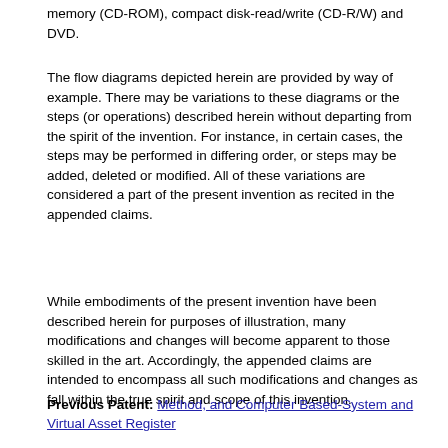memory (CD-ROM), compact disk-read/write (CD-R/W) and DVD.
The flow diagrams depicted herein are provided by way of example. There may be variations to these diagrams or the steps (or operations) described herein without departing from the spirit of the invention. For instance, in certain cases, the steps may be performed in differing order, or steps may be added, deleted or modified. All of these variations are considered a part of the present invention as recited in the appended claims.
While embodiments of the present invention have been described herein for purposes of illustration, many modifications and changes will become apparent to those skilled in the art. Accordingly, the appended claims are intended to encompass all such modifications and changes as fall within the true spirit and scope of this invention.
Previous Patent: Method, and Computer Based-System and Virtual Asset Register